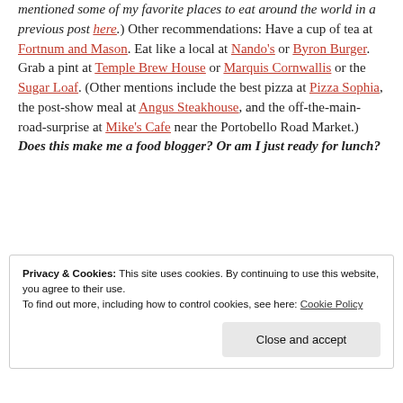mentioned some of my favorite places to eat around the world in a previous post here.) Other recommendations: Have a cup of tea at Fortnum and Mason. Eat like a local at Nando's or Byron Burger. Grab a pint at Temple Brew House or Marquis Cornwallis or the Sugar Loaf. (Other mentions include the best pizza at Pizza Sophia, the post-show meal at Angus Steakhouse, and the off-the-main-road-surprise at Mike's Cafe near the Portobello Road Market.) Does this make me a food blogger? Or am I just ready for lunch?
Privacy & Cookies: This site uses cookies. By continuing to use this website, you agree to their use. To find out more, including how to control cookies, see here: Cookie Policy